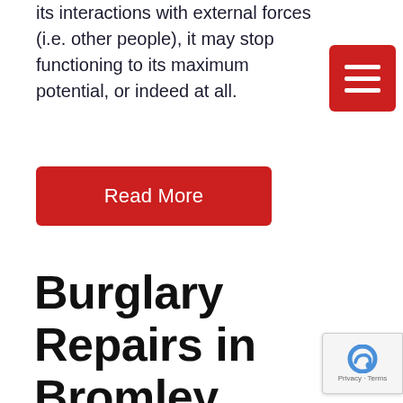its interactions with external forces (i.e. other people), it may stop functioning to its maximum potential, or indeed at all.
[Figure (other): Red hamburger menu button with three white horizontal lines]
[Figure (other): Red 'Read More' button with white text]
Burglary Repairs in Bromley
At AP Locksmiths, we understand how frustrating and frightening a break-in can be. We provide a rapid and an efficient solution that will identify and resolve the issue so that you can sleep easy, assured that it won't happen again. Our professional and experienced [team] can undertake security surveys and give advice on [the] best security measures to implement at your property. [Our team can also attend to all things domestic, illicit...]